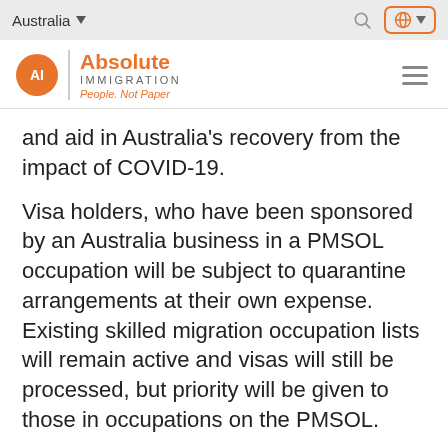Australia
[Figure (logo): Absolute Immigration logo with orange circle containing 'AI', text 'Absolute IMMIGRATION People. Not Paper']
and aid in Australia's recovery from the impact of COVID-19.
Visa holders, who have been sponsored by an Australia business in a PMSOL occupation will be subject to quarantine arrangements at their own expense. Existing skilled migration occupation lists will remain active and visas will still be processed, but priority will be given to those in occupations on the PMSOL.
The addition of 22 occupations listed by...